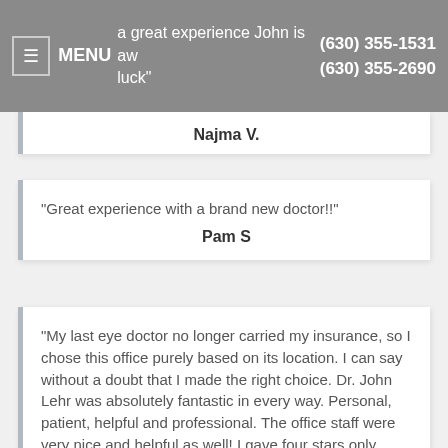MENU  a great experience John is aw... luck"  (630) 355-1531  (630) 355-2690
Najma V.
"Great experience with a brand new doctor!!"
Pam S
"My last eye doctor no longer carried my insurance, so I chose this office purely based on its location. I can say without a doubt that I made the right choice. Dr. John Lehr was absolutely fantastic in every way. Personal, patient, helpful and professional. The office staff were very nice and helpful as well! I gave four stars only because they don't have an enormous selection of men's glasses, but their collection is decent."
Robert B.